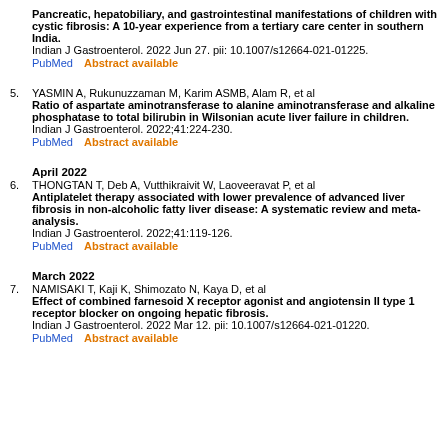Pancreatic, hepatobiliary, and gastrointestinal manifestations of children with cystic fibrosis: A 10-year experience from a tertiary care center in southern India.
Indian J Gastroenterol. 2022 Jun 27. pii: 10.1007/s12664-021-01225.
PubMed    Abstract available
5. YASMIN A, Rukunuzzaman M, Karim ASMB, Alam R, et al
Ratio of aspartate aminotransferase to alanine aminotransferase and alkaline phosphatase to total bilirubin in Wilsonian acute liver failure in children.
Indian J Gastroenterol. 2022;41:224-230.
PubMed    Abstract available
April 2022
6. THONGTAN T, Deb A, Vutthikraivit W, Laoveeravat P, et al
Antiplatelet therapy associated with lower prevalence of advanced liver fibrosis in non-alcoholic fatty liver disease: A systematic review and meta-analysis.
Indian J Gastroenterol. 2022;41:119-126.
PubMed    Abstract available
March 2022
7. NAMISAKI T, Kaji K, Shimozato N, Kaya D, et al
Effect of combined farnesoid X receptor agonist and angiotensin II type 1 receptor blocker on ongoing hepatic fibrosis.
Indian J Gastroenterol. 2022 Mar 12. pii: 10.1007/s12664-021-01220.
PubMed    Abstract available